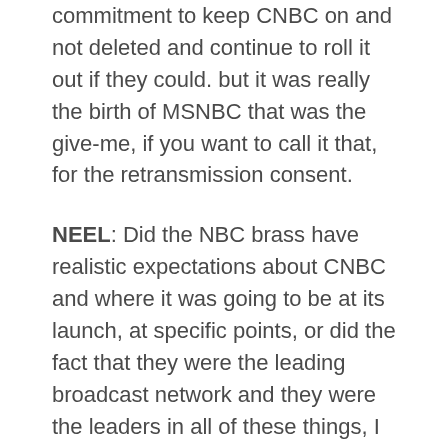commitment to keep CNBC on and not deleted and continue to roll it out if they could. but it was really the birth of MSNBC that was the give-me, if you want to call it that, for the retransmission consent.
NEEL: Did the NBC brass have realistic expectations about CNBC and where it was going to be at its launch, at specific points, or did the fact that they were the leading broadcast network and they were the leaders in all of these things, I seem to recall that they just sort of assumed that of course